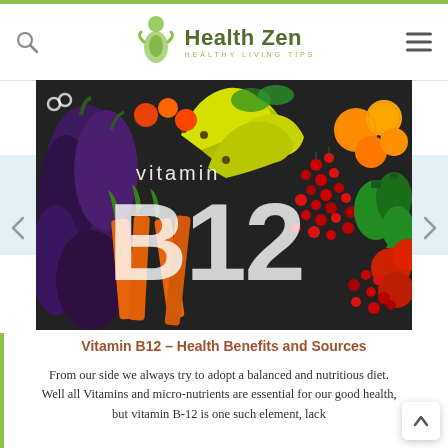Health Zen – Healthy Living Tips
[Figure (photo): Colorful assortment of vegetables and fruits including eggplants, carrots, bananas, berries, peppers, tomatoes, and more, with text overlay reading 'vitamin B12']
Vitamin B12 – Health Benefits and Sources
From our side we always try to adopt a balanced and nutritious diet. Well all Vitamins and micro-nutrients are essential for our good health, but vitamin B-12 is one such element, lack